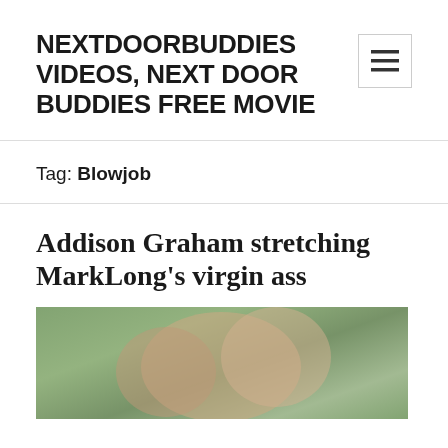NEXTDOORBUDDIES VIDEOS, NEXT DOOR BUDDIES FREE MOVIE
Tag: Blowjob
Addison Graham stretching MarkLong's virgin ass
[Figure (photo): Outdoor photo of two men, trees visible in background]